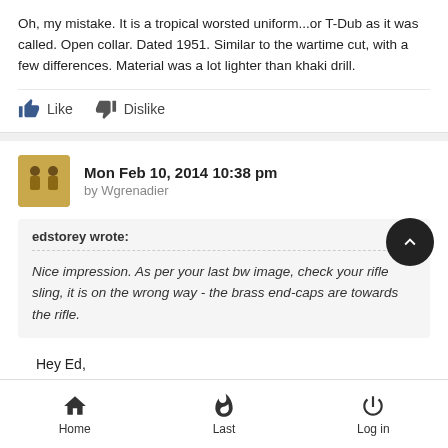Oh, my mistake. It is a tropical worsted uniform...or T-Dub as it was called. Open collar. Dated 1951. Similar to the wartime cut, with a few differences. Material was a lot lighter than khaki drill.
Like   Dislike
Mon Feb 10, 2014 10:38 pm by Wgrenadier
edstorey wrote:
Nice impression.  As per your last bw image, check your rifle sling, it is on the wrong way - the brass end-caps are towards the rifle.
Hey Ed,